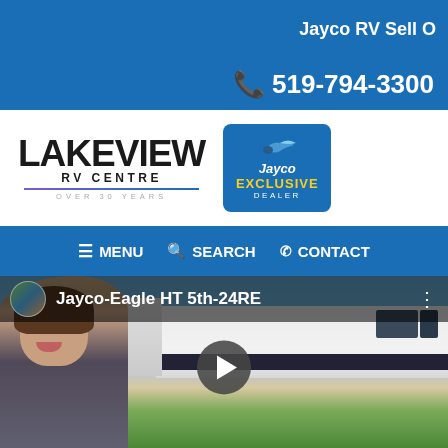Jayco RV Sell O
519-794-3300
[Figure (logo): Lakeview RV Centre logo with purple underline and 'OVER 30 YEARS' tagline, alongside Jayco Exclusive Dealer badge]
MENU  SEARCH  CONTACT
[Figure (screenshot): YouTube video thumbnail showing woman smiling in foreground with a Jayco Eagle HT 5th wheel RV behind her. Video title: Jayco-Eagle HT 5th-24RE. Play button visible in center.]